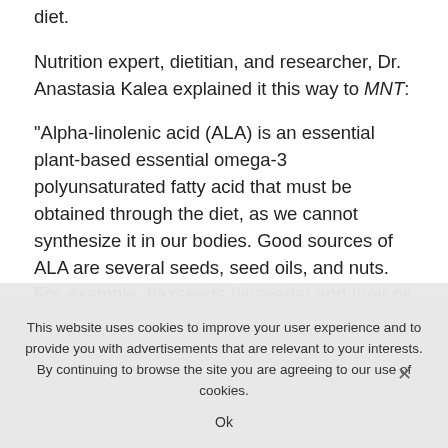diet.
Nutrition expert, dietitian, and researcher, Dr. Anastasia Kalea explained it this way to MNT:
“Alpha-linolenic acid (ALA) is an essential plant-based essential omega-3 polyunsaturated fatty acid that must be obtained through the diet, as we cannot synthesize it in our bodies. Good sources of ALA are several seeds, seed oils, and nuts. For example, flaxseeds (linseeds) and their oil typically
This website uses cookies to improve your user experience and to provide you with advertisements that are relevant to your interests. By continuing to browse the site you are agreeing to our use of cookies.
Ok